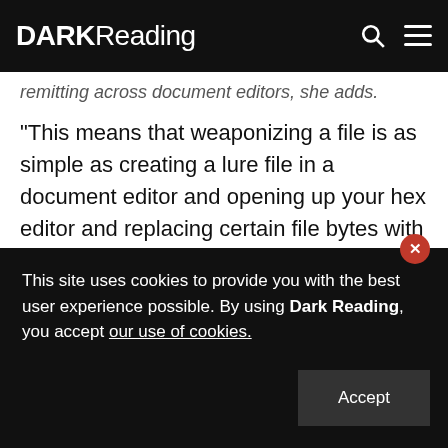DARK Reading
remitting across document editors, she adds.
"This means that weaponizing a file is as simple as creating a lure file in a document editor and opening up your hex editor and replacing certain file bytes with the bytes representing a malicious URL destination," DeGrippo says.
In their writeup, researchers say it's "trivial" to alter the bytes of an RTF file to insert a template control word destination including a URL resource. This would allow
This site uses cookies to provide you with the best user experience possible. By using Dark Reading, you accept our use of cookies.